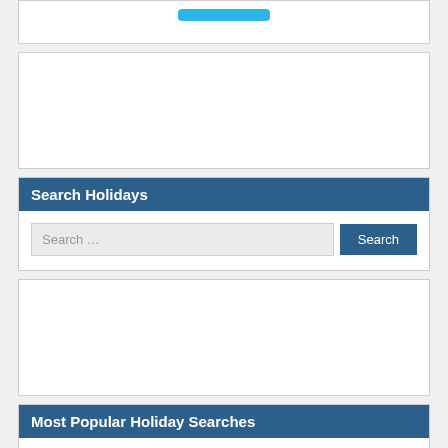[Figure (screenshot): Partial top widget box with a blue button visible at top]
[Figure (screenshot): Empty white widget box (advertisement placeholder)]
Search Holidays
Search … Search
[Figure (screenshot): Empty white widget box (advertisement placeholder)]
Most Popular Holiday Searches
Australia | Canada | Malaysia | India | US
US Bank Holidays 2020
UK Bank Holidays 2020
Japan Bank Holidays 2020
New York Stock Exchange (NYSE) Holidays 2020